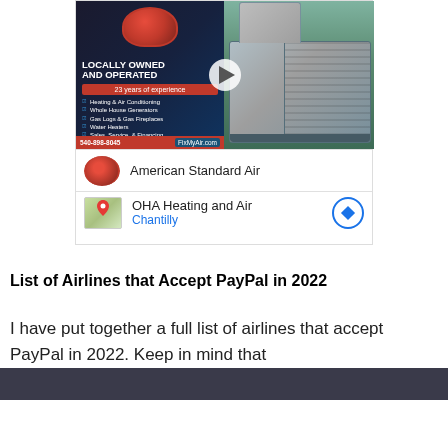[Figure (screenshot): Video thumbnail advertisement for American Standard Air / FixMyAir.com HVAC company showing 'LOCALLY OWNED AND OPERATED, 23 years of experience' with services list and phone number 540-898-8045, with play button overlay and AC unit image on right side]
American Standard Air
OHA Heating and Air
Chantilly
List of Airlines that Accept PayPal in 2022
I have put together a full list of airlines that accept PayPal in 2022. Keep in mind that